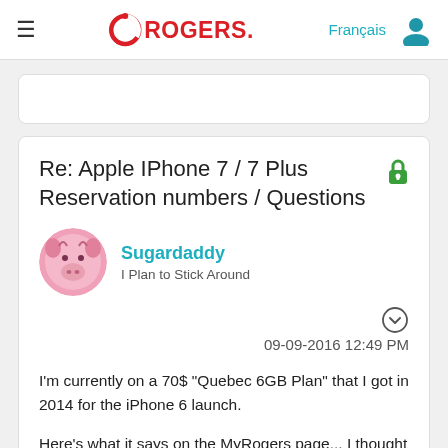Rogers
Re: Apple IPhone 7 / 7 Plus Reservation numbers / Questions
Sugardaddy
I Plan to Stick Around
09-09-2016 12:49 PM
I'm currently on a 70$ "Quebec 6GB Plan" that I got in 2014 for the iPhone 6 launch.
Here's what it says on the MyRogers page... I thought it